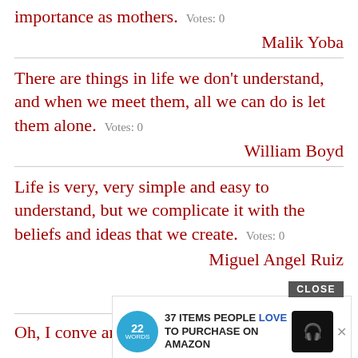importance as mothers. Votes: 0
Malik Yoba
There are things in life we don't understand, and when we meet them, all we can do is let them alone. Votes: 0
William Boyd
Life is very, very simple and easy to understand, but we complicate it with the beliefs and ideas that we create. Votes: 0
Miguel Angel Ruiz
[Figure (screenshot): Advertisement banner: CLOSE button overlay, 22 Words logo, text '37 ITEMS PEOPLE LOVE TO PURCHASE ON AMAZON', headphones image, X button]
Oh, I ... conve... and before one of us dies Votes: 0